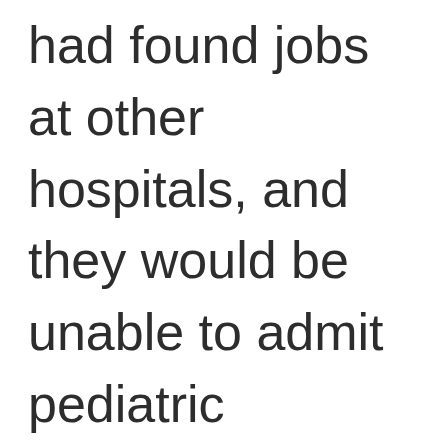had found jobs at other hospitals, and they would be unable to admit pediatric patients at all. As a result, they caved in, left the D...